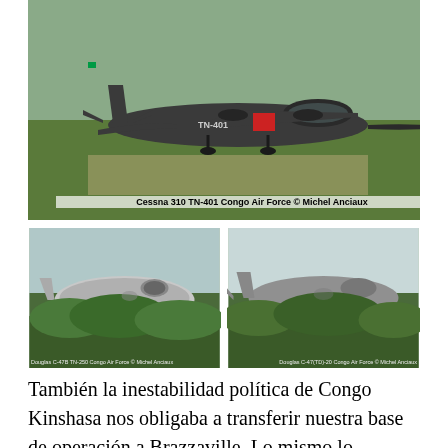[Figure (photo): Military jet aircraft Cessna 310 TN-401 Congo Air Force parked on grass airfield, dark green/grey color with red markings, photographed by Michel Anciaux]
Cessna 310 TN-401 Congo Air Force © Michel Anciaux
[Figure (photo): Two photos side by side of abandoned derelict aircraft in overgrown grass. Left: Douglas C-47B TN-250 Congo Air Force © Michel Anciaux. Right: Douglas C-47(TD)-20 Congo Air Force © Michel Anciaux]
Douglas C-47B TN-250 Congo Air Force © Michel Anciaux
Douglas C-47(TD)-20 Congo Air Force © Michel Anciaux
También la inestabilidad política de Congo Kinshasa nos obligaba a transferir nuestra base de operación a Brazzaville. Lo mismo lo